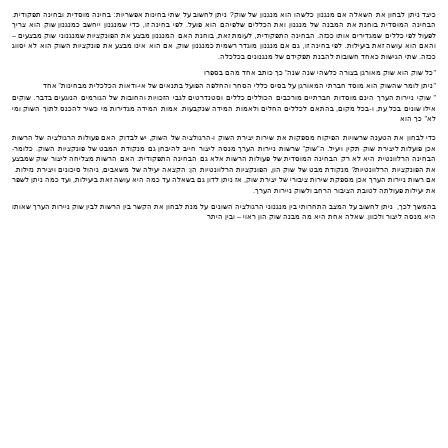כיצד ניתן לבחון את השאלה אם מנגנון כלשהו הוא מנגנון של שוק? ניתן לחשוב על שתי בחינות אפשריות: בחינה מוסדית ובחינה תפקודית. הבחינה המוסדית בוחנת את המבנה של מנגנון ואת הכללים שלפיהם הוא פועל. לפי בחינה זו, כדי שמנגנון ייחשב כמנגנון שוק הוא צריך לפעול לפי כללים שמגדירים אותו ככזה. הבחינה התפקודית, לעומת זאת, בוחנת האם המנגנון מבצע את הפונקציות שמנגנוני שוק מבצעים – והאם הוא עושה זאת ביעילות. לפי בחינה זו, גם אם מנגנון מוגדר רשמית כמנגנון שוק, אם הוא אינו מבצע את פונקציות השוק הוא לא יסווג ככזה. שתי הגישות כאחד חשובות להבנת תפקידם של מנגנונים בכלכלה.
"כל שוק הוא שוק מאורגן בצורה כלשהי שנה שנה" כך כותב אחד מהם בספרו
"ניתן לומר שהשוק הוא מוסד חברתי המאורגן על בסיס כללי הסחר והחלפה הפועל בתנאים של אי-ודאות הכלכלית מבחינות" אחד
" שוקי ניירות הערך הינם מוסדות חברתיים מורכבים הכוללים כללים וסטנדרטים לגבי הזכויות והחובות של הגורמים הנוגעים בדבר. שוקים אילו שונים בכל עת, ו-בכל מקום, בהתאם לכללים החלים ולאמות המידה שנקבעות. אמות המידה מגדירות מי כשיר להכנס לתוך השוק ומי לא" כך הוא
כדי לבחון את הטענה שרשויות הפיקוח מספקות את שירות יצירת השוק ו-הרגולציה של השוק, יש לבדוק האם פעולות הרגולציה של הרשות אכן פועלות ליצירת שוק תקין ויעיל. ה"שוק" שרשות ניירות הערך מנסה ליצור חייב להיבחן גם מנקודת המבט של פונקציות השוק. כלומר-הבחינה הרלוונטית היא לא רק הבחינה המוסדית של פעולות הרשות אלא גם הבחינה התפקודית: האם הרשות מצליחה ליצור שוק שמבצע את הפונקציות הרלוונטיות? מנקודת מבט של שוק הון, הפונקציות הרלוונטיות הן: הקצאה יעילה של משאבים, ניהול סיכונים ויצירת נזילות.  אם רשות ניירות הערך אכן מספקת שירות ציבורי של יצירת שוק, אז ניתן לדון גם בשאלה עד כמה היא עושה זאת ביעילות, ועד כמה ניתן לשפר את יעילות פעולתה לטובת הציבור הרחב ולשוק ניירות הערך.
בהמשך לכך,  ניתן לחשוב על המצב התחרותי בין מנגנוני הרגולציה השונים על מנת לבחון את הקשר בין הרשות לבין שוק ניירות הערך שאותו היא מנסה ליצור ולכוון. שאלה אחת היא מה מבנה שוק הון ראוי – ובין היתר